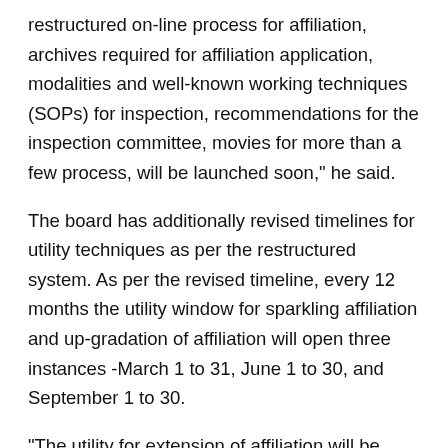restructured on-line process for affiliation, archives required for affiliation application, modalities and well-known working techniques (SOPs) for inspection, recommendations for the inspection committee, movies for more than a few process, will be launched soon," he said.
The board has additionally revised timelines for utility techniques as per the restructured system. As per the revised timeline, every 12 months the utility window for sparkling affiliation and up-gradation of affiliation will open three instances -March 1 to 31, June 1 to 30, and September 1 to 30.
"The utility for extension of affiliation will be common from March 1 to May 31 each and every year. Other purposes such as these for the extra subject, part increase, exchange of identity of the school, alternate of society or trust, will be conventional via the year," Tripathi said.